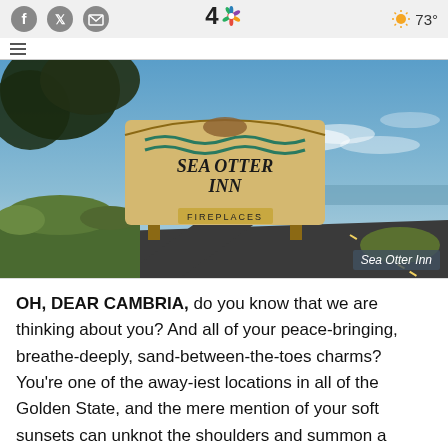NBC 4 | 73°
[Figure (photo): Outdoor photo of Sea Otter Inn wooden sign along a road with blue sky, ocean visible in background and large tree overhead. Sign reads SEA OTTER INN with FIREPLACES below. Overlay caption reads 'Sea Otter Inn'.]
OH, DEAR CAMBRIA, do you know that we are thinking about you? And all of your peace-bringing, breathe-deeply, sand-between-the-toes charms? You're one of the away-iest locations in all of the Golden State, and the mere mention of your soft sunsets can unknot the shoulders and summon a